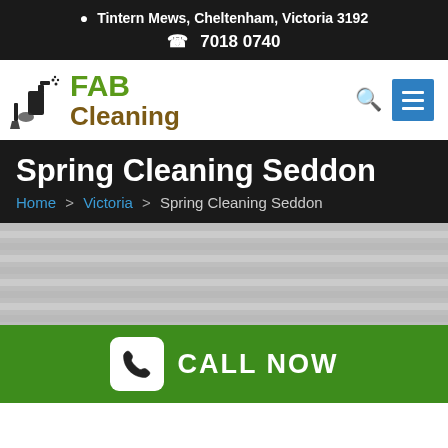📍 Tintern Mews, Cheltenham, Victoria 3192
📞 7018 0740
[Figure (logo): FAB Cleaning logo with spray bottle and cleaning brush icon. FAB in green, Cleaning in brown.]
Spring Cleaning Seddon
Home > Victoria > Spring Cleaning Seddon
[Figure (photo): Blurred/greyed out background image showing window blinds or slatted surface]
CALL NOW